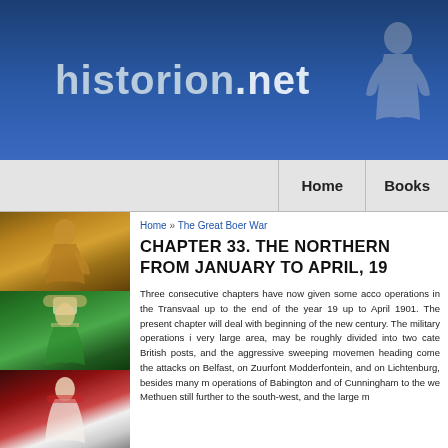historion.net
Home | Books
Home » The Great Boer War
CHAPTER 33. THE NORTHERN... FROM JANUARY TO APRIL, 19...
[Figure (photo): Bronze statue of a Roman figure in classical robes]
[Figure (photo): Portrait painting of a Mughal nobleman in ornate green attire with turban]
[Figure (photo): Portrait of Napoleon Bonaparte in imperial robes]
Three consecutive chapters have now given some acco... operations in the Transvaal up to the end of the year 19... up to April 1901. The present chapter will deal with... beginning of the new century. The military operations i... very large area, may be roughly divided into two cate... British posts, and the aggressive sweeping movemen... heading come the attacks on Belfast, on Zuurfont... Modderfontein, and on Lichtenburg, besides many m... operations of Babington and of Cunningham to the we... Methuen still further to the south-west, and the large m...